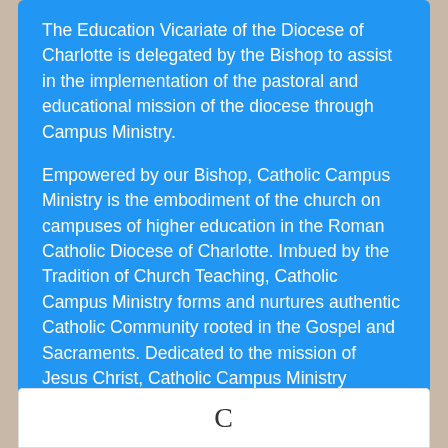The Education Vicariate of the Diocese of Charlotte is delegated by the Bishop to assist in the implementation of the pastoral and educational mission of the diocese through Campus Ministry.
Empowered by our Bishop, Catholic Campus Ministry is the embodiment of the church on campuses of higher education in the Roman Catholic Diocese of Charlotte. Imbued by the Tradition of Church Teaching, Catholic Campus Ministry forms and nurtures authentic Catholic Community rooted in the Gospel and Sacraments. Dedicated to the mission of Jesus Christ, Catholic Campus Ministry evangelizes through personal and communal experiences for the formation of lifelong disciples.